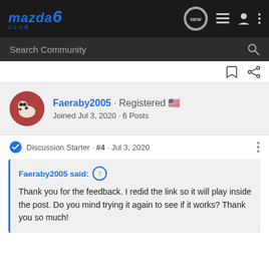Mazda 6 Club — Navigation bar with NEW, list, user, and menu icons
Search Community
Faeraby2005 · Registered · Joined Jul 3, 2020 · 6 Posts
Discussion Starter · #4 · Jul 3, 2020
Faeraby2005 said: Thank you for the feedback. I redid the link so it will play inside the post. Do you mind trying it again to see if it works? Thank you so much!